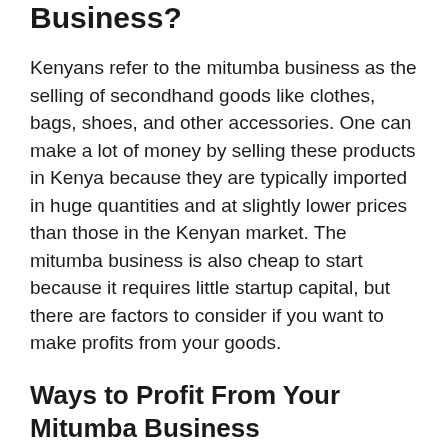Business?
Kenyans refer to the mitumba business as the selling of secondhand goods like clothes, bags, shoes, and other accessories. One can make a lot of money by selling these products in Kenya because they are typically imported in huge quantities and at slightly lower prices than those in the Kenyan market. The mitumba business is also cheap to start because it requires little startup capital, but there are factors to consider if you want to make profits from your goods.
Ways to Profit From Your Mitumba Business
Here are ways to make profits for your Mitumba business.